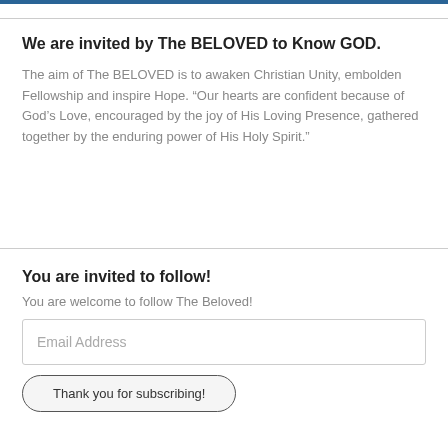We are invited by The BELOVED to Know GOD.
The aim of The BELOVED is to awaken Christian Unity, embolden Fellowship and inspire Hope. “Our hearts are confident because of God’s Love, encouraged by the joy of His Loving Presence, gathered together by the enduring power of His Holy Spirit.”
You are invited to follow!
You are welcome to follow The Beloved!
Email Address
Thank you for subscribing!